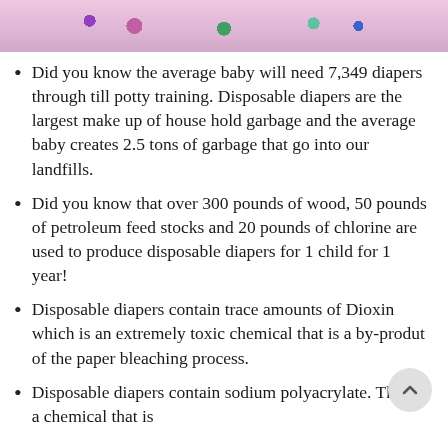[Figure (photo): Top strip showing a baby or colorful baby-related items (diapers/toys), partially cropped at the top of the page.]
Did you know the average baby will need 7,349 diapers through till potty training. Disposable diapers are the largest make up of house hold garbage and the average baby creates 2.5 tons of garbage that go into our landfills.
Did you know that over 300 pounds of wood, 50 pounds of petroleum feed stocks and 20 pounds of chlorine are used to produce disposable diapers for 1 child for 1 year!
Disposable diapers contain trace amounts of Dioxin which is an extremely toxic chemical that is a by-produt of the paper bleaching process.
Disposable diapers contain sodium polyacrylate. This is a chemical that is